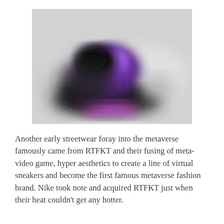[Figure (photo): A blurred photo showing what appears to be dark/black and purple sneakers or shoes against a light gray background. The image is intentionally blurred.]
Another early streetwear foray into the metaverse famously came from RTFKT and their fusing of meta-video game, hyper aesthetics to create a line of virtual sneakers and become the first famous metaverse fashion brand. Nike took note and acquired RTFKT just when their heat couldn't get any hotter.